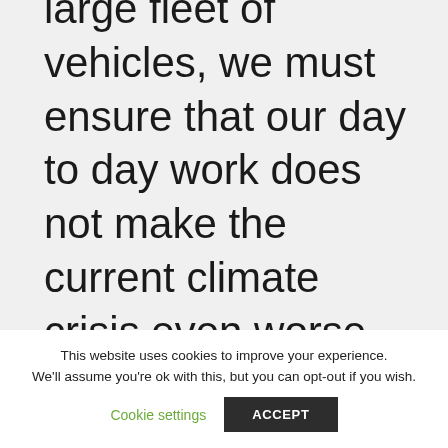large fleet of vehicles, we must ensure that our day to day work does not make the current climate crisis even worse. This is why we have invested significant time, money and resources in to becoming carbon neutral. This is being achieved through a variety of
This website uses cookies to improve your experience. We'll assume you're ok with this, but you can opt-out if you wish. Cookie settings ACCEPT